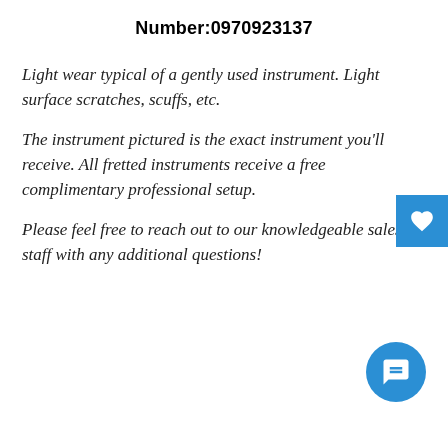Number:0970923137
Light wear typical of a gently used instrument. Light surface scratches, scuffs, etc.
The instrument pictured is the exact instrument you'll receive. All fretted instruments receive a free complimentary professional setup.
Please feel free to reach out to our knowledgeable sales staff with any additional questions!